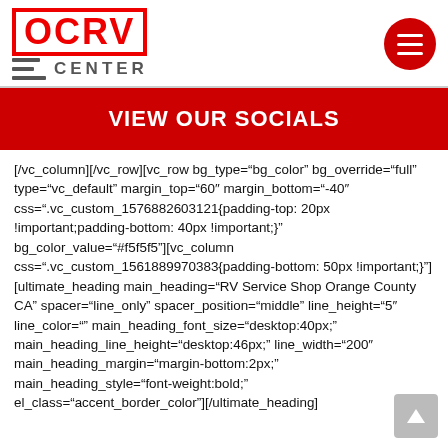OC RV CENTER
VIEW OUR SOCIALS
[/vc_column][/vc_row][vc_row bg_type="bg_color" bg_override="full" type="vc_default" margin_top="60" margin_bottom="-40" css=".vc_custom_1576882603121{padding-top: 20px !important;padding-bottom: 40px !important;}" bg_color_value="#f5f5f5"][vc_column css=".vc_custom_1561889970383{padding-bottom: 50px !important;}"][ultimate_heading main_heading="RV Service Shop Orange County CA" spacer="line_only" spacer_position="middle" line_height="5" line_color="" main_heading_font_size="desktop:40px;" main_heading_line_height="desktop:46px;" line_width="200" main_heading_margin="margin-bottom:2px;" main_heading_style="font-weight:bold;" el_class="accent_border_color"][/ultimate_heading]